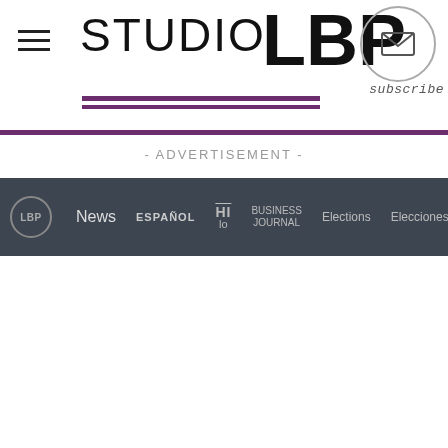STUDIO LBP
- ADVERTISEMENT -
LBP | News | ESPAÑOL | HI lo | BUSINESS JOURNAL | Elections | Elecciones | MORE